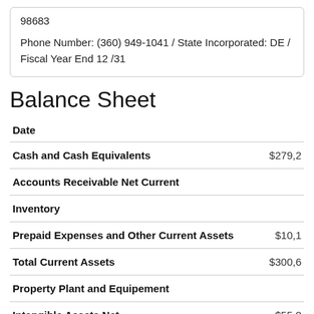98683

Phone Number: (360) 949-1041 / State Incorporated: DE / Fiscal Year End 12 /31
Balance Sheet
| Date |  |
| --- | --- |
| Cash and Cash Equivalents | $279,2… |
| Accounts Receivable Net Current |  |
| Inventory |  |
| Prepaid Expenses and Other Current Assets | $10,1… |
| Total Current Assets | $300,6… |
| Property Plant and Equipement |  |
| Intangible Assets Net | $55,8… |
| Goodwill | $23,0… |